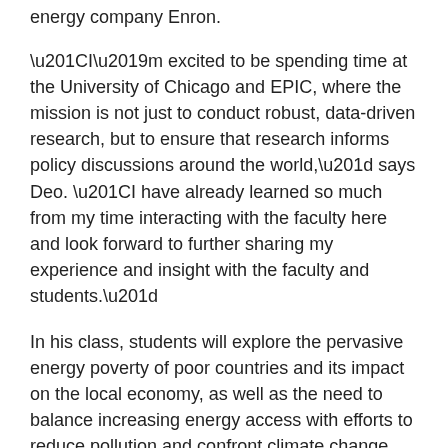energy company Enron.
“I’m excited to be spending time at the University of Chicago and EPIC, where the mission is not just to conduct robust, data-driven research, but to ensure that research informs policy discussions around the world,” says Deo. “I have already learned so much from my time interacting with the faculty here and look forward to further sharing my experience and insight with the faculty and students.”
In his class, students will explore the pervasive energy poverty of poor countries and its impact on the local economy, as well as the need to balance increasing energy access with efforts to reduce pollution and confront climate change. During his time on campus, Deo will also participate in workshops and public discussions, as well as serve